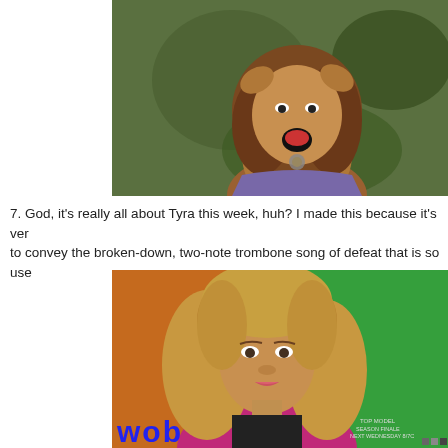[Figure (photo): Woman with hands on head, mouth open shouting, wearing purple top, outdoors with green foliage background]
7. God, it's really all about Tyra this week, huh? I made this because it's ver to convey the broken-down, two-note trombone song of defeat that is so use
[Figure (photo): Woman with long wavy blonde hair wearing pink/magenta top, standing in front of orange and green background. Blue text 'wob' visible at bottom along with TV show watermark text 'TOP MODEL SEASON FINALE NEXT WEDNESDAY 8/7C']